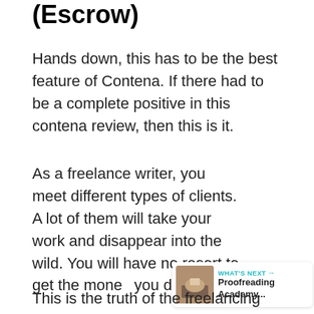(Escrow)
Hands down, this has to be the best feature of Contena. If there had to be a complete positive in this contena review, then this is it.
As a freelance writer, you meet different types of clients. A lot of them will take your work and disappear into the wild. You will have no resort to get the money you deserve.
This is the truth of the freelancing